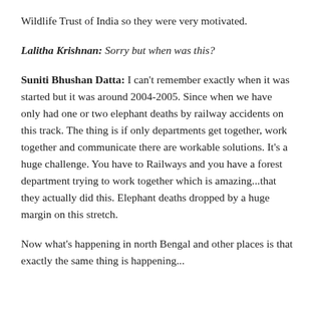Wildlife Trust of India so they were very motivated.
Lalitha Krishnan: Sorry but when was this?
Suniti Bhushan Datta: I can't remember exactly when it was started but it was around 2004-2005. Since when we have only had one or two elephant deaths by railway accidents on this track. The thing is if only departments get together, work together and communicate there are workable solutions. It's a huge challenge. You have to Railways and you have a forest department trying to work together which is amazing...that they actually did this. Elephant deaths dropped by a huge margin on this stretch.
Now what's happening in north Bengal and other places is that exactly the same thing is happening...